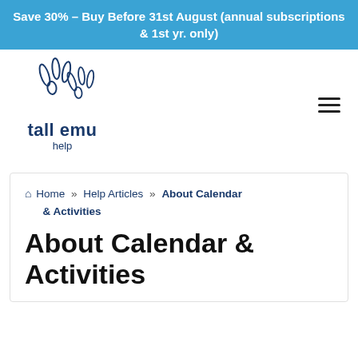Save 30% – Buy Before 31st August (annual subscriptions & 1st yr. only)
[Figure (logo): Tall Emu logo: stylized emu footprint drawings above the text 'tall emu help']
Home » Help Articles » About Calendar & Activities
About Calendar & Activities